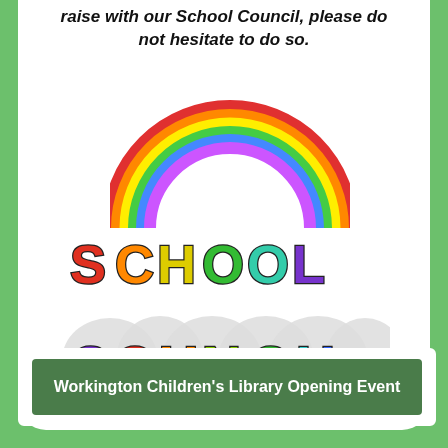raise with our School Council, please do not hesitate to do so.
[Figure (illustration): Colorful cartoon 'SCHOOL COUNCIL' text logo with bubble letters in rainbow colors (red, orange, yellow, green, blue, purple), with a rainbow arc above the first word, and cloud-like white bubble shapes behind the second word.]
Workington Children's Library Opening Event